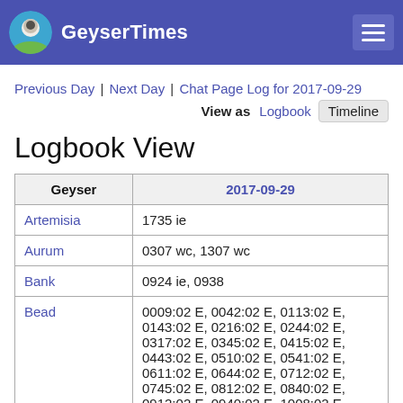GeyserTimes
Previous Day | Next Day | Chat Page Log for 2017-09-29
View as  Logbook  Timeline
Logbook View
| Geyser | 2017-09-29 |
| --- | --- |
| Artemisia | 1735 ie |
| Aurum | 0307 wc, 1307 wc |
| Bank | 0924 ie, 0938 |
| Bead | 0009:02 E, 0042:02 E, 0113:02 E, 0143:02 E, 0216:02 E, 0244:02 E, 0317:02 E, 0345:02 E, 0415:02 E, 0443:02 E, 0510:02 E, 0541:02 E, 0611:02 E, 0644:02 E, 0712:02 E, 0745:02 E, 0812:02 E, 0840:02 E, 0912:02 E, 0940:02 E, 1008:02 E, 1035:02 E, 1104:02 E, 1130:02 E, |